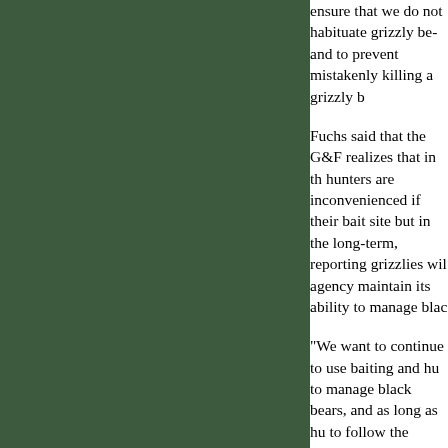ensure that we do not habituate grizzly bears and to prevent mistakenly killing a grizzly b...
Fuchs said that the G&F realizes that in th... hunters are inconvenienced if their bait sit... but in the long-term, reporting grizzlies wil... agency maintain its ability to manage blac...
"We want to continue to use baiting and h... to manage black bears, and as long as hu... to follow the established regulations and m... decisions, we will," Fuchs said.
The regulations specify that the person re... site, the person placing the bait or the hun... over the bait, must report the observation ... bear attracted to a black bear bait site. An... must be made immediately following the o...
Fuchs said the report should be made to t... Fish and Wildlife Service. The same repor... is also required in the event that a hunter ... a grizzly bear. In recent years, grizzly bea... have increased in the Owl Creek Mountair...
According to Fuchs, black bear baiting reg...